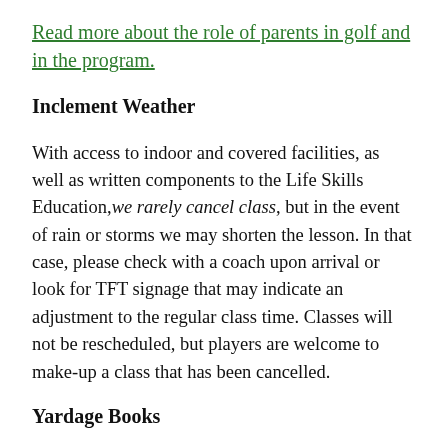Read more about the role of parents in golf and in the program.
Inclement Weather
With access to indoor and covered facilities, as well as written components to the Life Skills Education, we rarely cancel class, but in the event of rain or storms we may shorten the lesson. In that case, please check with a coach upon arrival or look for TFT signage that may indicate an adjustment to the regular class time. Classes will not be rescheduled, but players are welcome to make-up a class that has been cancelled.
Yardage Books